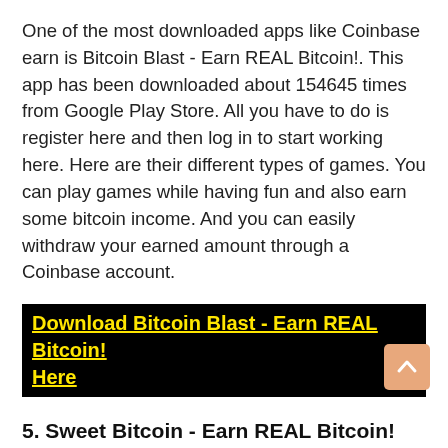One of the most downloaded apps like Coinbase earn is Bitcoin Blast - Earn REAL Bitcoin!. This app has been downloaded about 154645 times from Google Play Store. All you have to do is register here and then log in to start working here. Here are their different types of games. You can play games while having fun and also earn some bitcoin income. And you can easily withdraw your earned amount through a Coinbase account.
Download Bitcoin Blast - Earn REAL Bitcoin! Here
5. Sweet Bitcoin - Earn REAL Bitcoin!
Sweet Bitcoin - Earn REAL Bitcoin! Apps have